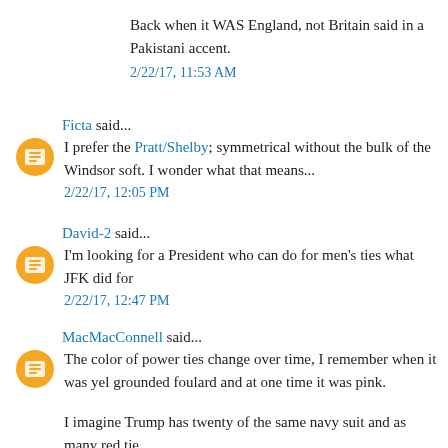Back when it WAS England, not Britain said in a Pakistani accent.
2/22/17, 11:53 AM
Ficta said...
I prefer the Pratt/Shelby; symmetrical without the bulk of the Windsor and not soft. I wonder what that means...
2/22/17, 12:05 PM
David-2 said...
I'm looking for a President who can do for men's ties what JFK did for
2/22/17, 12:47 PM
MacMacConnell said...
The color of power ties change over time, I remember when it was yel grounded foulard and at one time it was pink.
I imagine Trump has twenty of the same navy suit and as many red tie